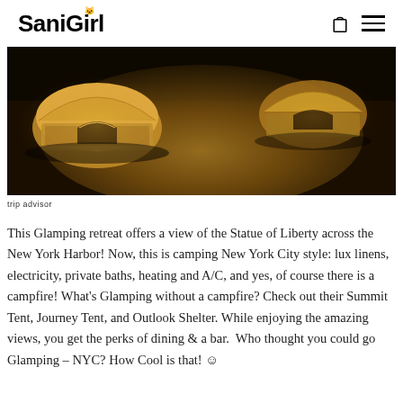SaniGirl
[Figure (photo): Nighttime photo of glamping tents with warm golden glow, showing dome-shaped luxury tents with glass panel bases, viewed from outside at ground level.]
trip advisor
This Glamping retreat offers a view of the Statue of Liberty across the New York Harbor! Now, this is camping New York City style: lux linens, electricity, private baths, heating and A/C, and yes, of course there is a campfire! What’s Glamping without a campfire? Check out their Summit Tent, Journey Tent, and Outlook Shelter. While enjoying the amazing views, you get the perks of dining & a bar. Who thought you could go Glamping – NYC? How Cool is that! ☺